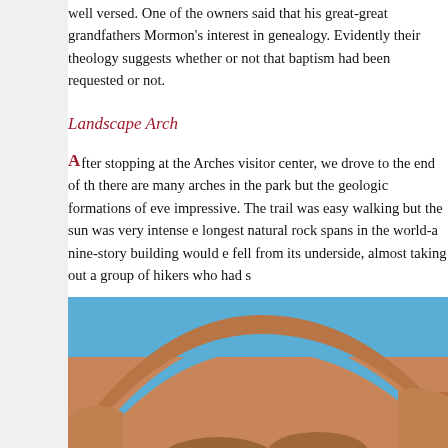well versed. One of the owners said that his great-great grandfathers Mormon's interest in genealogy. Evidently their theology suggests whether or not that baptism had been requested or not.
Landscape Arch
After stopping at the Arches visitor center, we drove to the end of th there are many arches in the park but the geologic formations of eve impressive. The trail was easy walking but the sun was very intense e longest natural rock spans in the world-a nine-story building would fell from its underside, almost taking out a group of hikers who had s
[Figure (photo): Photograph of Landscape Arch at Arches National Park, showing a large thin natural sandstone arch spanning against a blue sky, with red-orange rock formations and desert scrub vegetation in the foreground.]